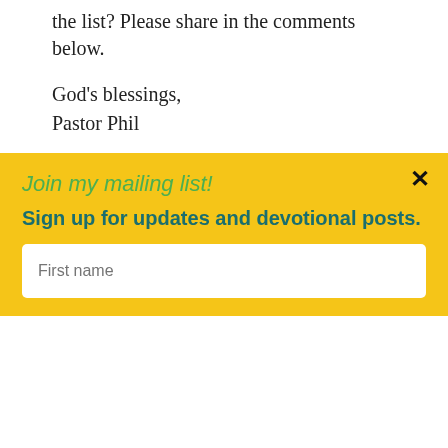the list? Please share in the comments below.
God's blessings,
Pastor Phil
GET THE EMAIL DEVOTIONAL
GET THE BOOK
[Figure (screenshot): Video thumbnail bar with GSNJ logo and title '20 Things to Give Up for Lent']
Join my mailing list!
Sign up for updates and devotional posts.
First name